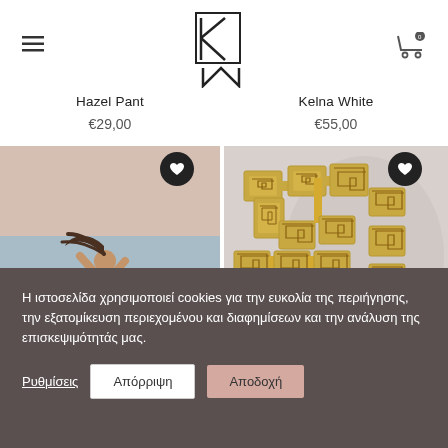Navigation header with logo and cart
Hazel Pant
€29,00
Kelna White
€55,00
[Figure (photo): Woman in beige outfit standing on rocky surface by the sea, with long dark hair blowing in the wind]
[Figure (photo): Close-up of a gold Greek key pattern chain necklace/bracelet on a light gray background]
Η ιστοσελίδα χρησιμοποιεί cookies για την ευκολία της περιήγησης, την εξατομίκευση περιεχομένου και διαφημίσεων και την ανάλυση της επισκεψιμότητάς μας.
Ρυθμίσεις
Απόρριψη
Αποδοχή